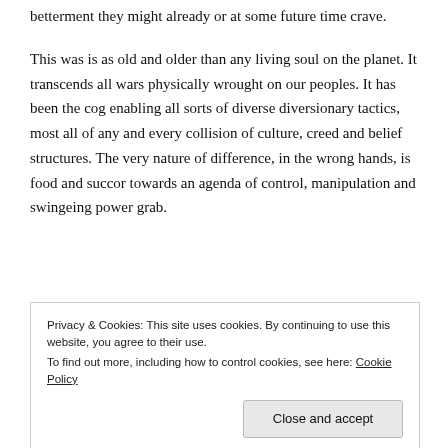betterment they might already or at some future time crave.
This was is as old and older than any living soul on the planet. It transcends all wars physically wrought on our peoples. It has been the cog enabling all sorts of diverse diversionary tactics, most all of any and every collision of culture, creed and belief structures. The very nature of difference, in the wrong hands, is food and succor towards an agenda of control, manipulation and swingeing power grab.
Privacy & Cookies: This site uses cookies. By continuing to use this website, you agree to their use.
To find out more, including how to control cookies, see here: Cookie Policy
[Close and accept]
illustrating the iniquity and inequity raging around us